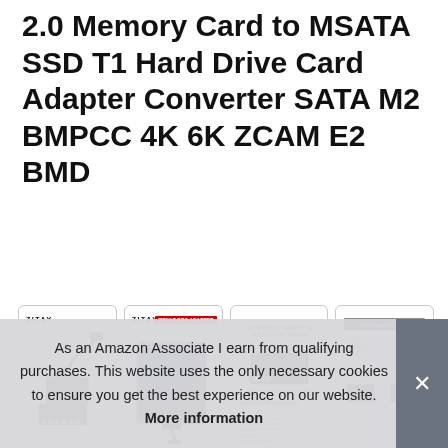2.0 Memory Card to MSATA SSD T1 Hard Drive Card Adapter Converter SATA M2 BMPCC 4K 6K ZCAM E2 BMD
[Figure (photo): Four product images in bordered cards: 1) ZITAY branded adapter with cable on white background, 2) ZITAY branded camera with red label showing the adapter installed, 3) Product spec sheet showing 'SUPPORTS A VARIETY OF SOLID-STATE DRIVES' and 'PRODUCT PARAMETERS', 4) Installation guide showing four steps with images]
ZITA
20c... exte...
As an Amazon Associate I earn from qualifying purchases. This website uses the only necessary cookies to ensure you get the best experience on our website. More information